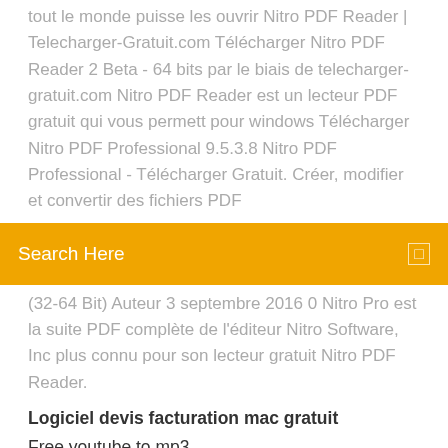tout le monde puisse les ouvrir Nitro PDF Reader | Telecharger-Gratuit.com Télécharger Nitro PDF Reader 2 Beta - 64 bits par le biais de telecharger-gratuit.com Nitro PDF Reader est un lecteur PDF gratuit qui vous permett pour windows Télécharger Nitro PDF Professional 9.5.3.8 Nitro PDF Professional - Télécharger Gratuit. Créer, modifier et convertir des fichiers PDF
[Figure (screenshot): Orange search bar with 'Search Here' label and a search icon on the right]
(32-64 Bit) Auteur 3 septembre 2016 0 Nitro Pro est la suite PDF complète de l'éditeur Nitro Software, Inc plus connu pour son lecteur gratuit Nitro PDF Reader.
Logiciel devis facturation mac gratuit
Free youtube to mp3
Microsoft word starter not responding windows 7
Fond décran windows 7 starter gratuit
Microsoft office word 2020 gratuit télécharger utorrent
Comment créer un code barre pdf